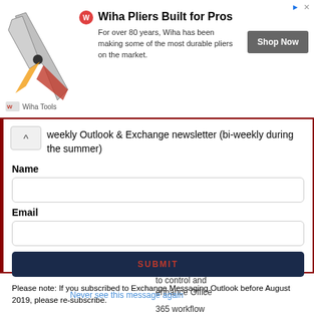[Figure (screenshot): Advertisement banner for Wiha Tools showing pliers image, brand logo, headline 'Wiha Pliers Built for Pros', description text, and a 'Shop Now' button]
weekly Outlook & Exchange newsletter (bi-weekly during the summer)
Name
Email
SUBMIT
Please note: If you subscribed to Exchange Messaging Outlook before August 2019, please re-subscribe.
to control and enhance Office
Never see this message again
365 workflow